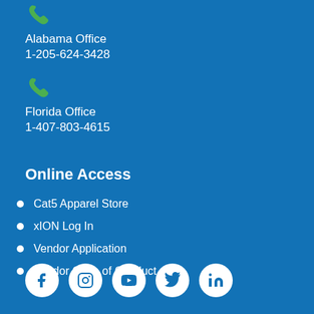[Figure (illustration): Green phone icon for Alabama Office]
Alabama Office
1-205-624-3428
[Figure (illustration): Green phone icon for Florida Office]
Florida Office
1-407-803-4615
Online Access
Cat5 Apparel Store
xION Log In
Vendor Application
Vendor Code of Conduct
[Figure (illustration): Social media icons row: Facebook, Instagram, YouTube, Twitter, LinkedIn]